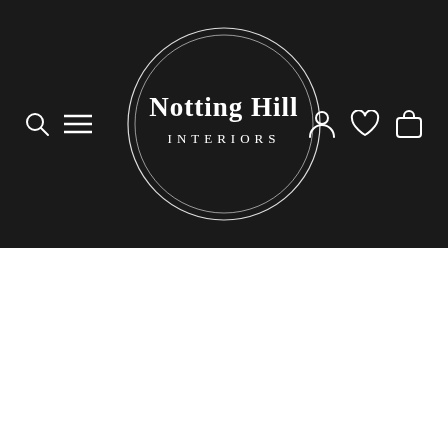[Figure (logo): Notting Hill Interiors logo: white text 'Notting Hill INTERIORS' centered inside two concentric thin white circles, on a dark/black background header with navigation icons (search, hamburger menu on left; person, heart, bag on right).]